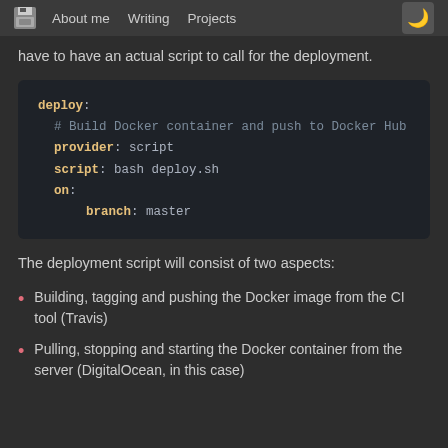About me  Writing  Projects
have to have an actual script to call for the deployment.
[Figure (screenshot): Code block showing YAML deploy configuration: deploy: # Build Docker container and push to Docker Hub provider: script script: bash deploy.sh on: branch: master]
The deployment script will consist of two aspects:
Building, tagging and pushing the Docker image from the CI tool (Travis)
Pulling, stopping and starting the Docker container from the server (DigitalOcean, in this case)